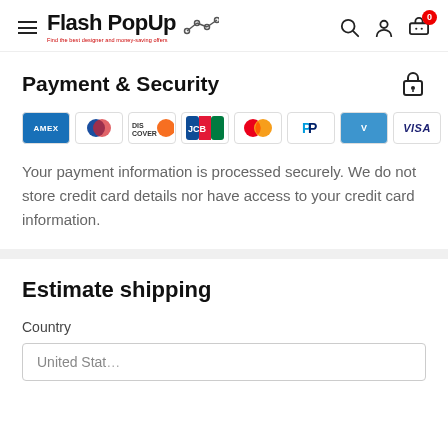Flash PopUp — navigation header with logo, search, account, and cart icons
Payment & Security
[Figure (other): Payment method icons: American Express, Diners Club, Discover, JCB, Mastercard, PayPal, Venmo, Visa]
Your payment information is processed securely. We do not store credit card details nor have access to your credit card information.
Estimate shipping
Country
United States